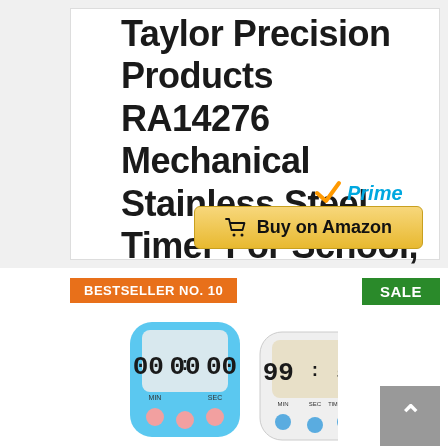Taylor Precision Products RA14276 Mechanical Stainless Steel Timer For School, Learning, Projects, And Kitchen Tasks, One Size, Multicolor
[Figure (other): Amazon Prime checkmark logo with 'Prime' text in blue italic]
[Figure (other): Gold 'Buy on Amazon' button with shopping cart icon]
BESTSELLER NO. 10
SALE
[Figure (photo): Two digital kitchen timers side by side — one blue showing 00:00 and one white showing 99:59]